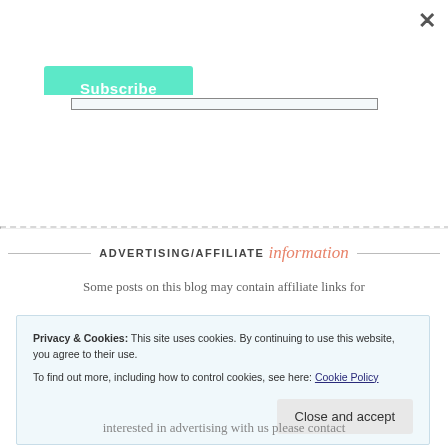[Figure (screenshot): Close (X) button in top right corner of a modal/popup]
[Figure (screenshot): Teal/mint Subscribe button in top left area]
[Figure (screenshot): Input text field bar]
ADVERTISING/AFFILIATE information
Some posts on this blog may contain affiliate links for
Privacy & Cookies: This site uses cookies. By continuing to use this website, you agree to their use.
To find out more, including how to control cookies, see here: Cookie Policy
[Figure (screenshot): Close and accept button for cookie banner]
interested in advertising with us please contact